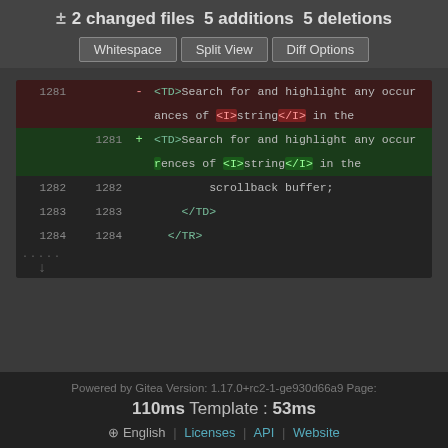± 2 changed files 5 additions 5 deletions
Whitespace | Split View | Diff Options
[Figure (screenshot): Git diff view showing line 1281 changed: '<TD>Search for and highlight any occurrences of <I>string</I> in the' with deletion (red) and addition (green) lines highlighted, followed by unchanged lines 1282-1284 with 'scrollback buffer;', '</TD>', '</TR>']
Powered by Gitea Version: 1.17.0+rc2-1-ge930d66a9 Page: 110ms Template : 53ms  English | Licenses | API | Website